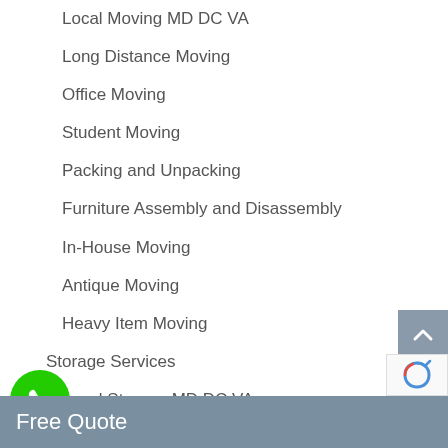Local Moving MD DC VA
Long Distance Moving
Office Moving
Student Moving
Packing and Unpacking
Furniture Assembly and Disassembly
In-House Moving
Antique Moving
Heavy Item Moving
Storage Services
Local Storage MD DC VA
Storage Moving
Storage Locator
Free Quote